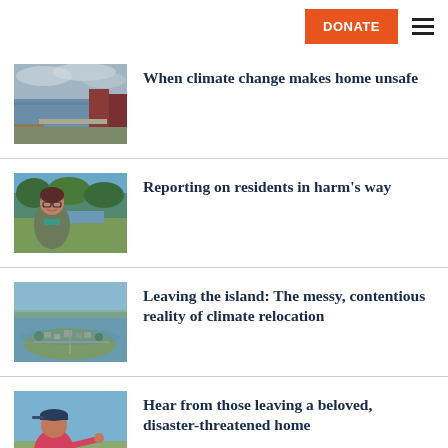DONATE
[Figure (photo): Aerial or ground-level view of a canal with brick buildings alongside it under a cloudy sky]
When climate change makes home unsafe
[Figure (photo): A woman with glasses and dark hair smiling outdoors near a canal with trees in the background]
Reporting on residents in harm's way
[Figure (photo): Aerial drone view of a small island community surrounded by water and marshland]
Leaving the island: The messy, contentious reality of climate relocation
[Figure (photo): Person in pink shirt and cap pointing at something outdoors]
Hear from those leaving a beloved, disaster-threatened home